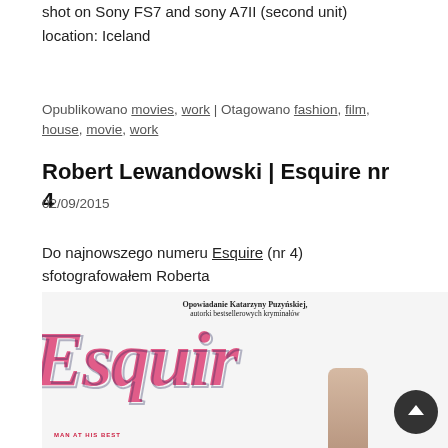shot on Sony FS7 and sony A7II (second unit)
location: Iceland
Opublikowano movies, work | Otagowano fashion, film, house, movie, work
Robert Lewandowski | Esquire nr 4
02/09/2015
Do najnowszego numeru Esquire (nr 4) sfotografowałem Roberta
[Figure (photo): Esquire magazine cover featuring Robert Lewandowski, with large pink Esquire logo and text 'Opowiadanie Katarzyny Puzyńskiej, autorki bestsellerowych kryminałów' and 'MAN AT HIS BEST']